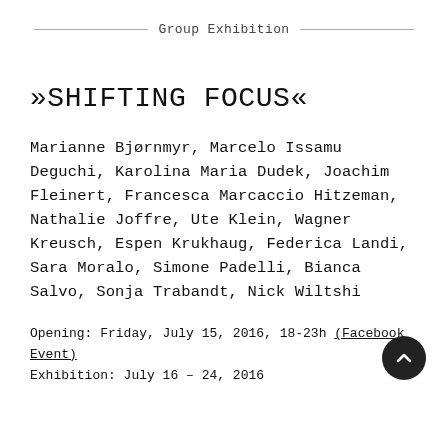Group Exhibition
»SHIFTING FOCUS«
Marianne Bjørnmyr, Marcelo Issamu Deguchi, Karolina Maria Dudek, Joachim Fleinert, Francesca Marcaccio Hitzeman, Nathalie Joffre, Ute Klein, Wagner Kreusch, Espen Krukhaug, Federica Landi, Sara Moralo, Simone Padelli, Bianca Salvo, Sonja Trabandt, Nick Wiltshi
Opening: Friday, July 15, 2016, 18-23h (Facebook Event)
Exhibition: July 16 – 24, 2016